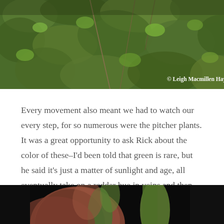[Figure (photo): Overhead view of green foliage and plant stems with a copyright watermark reading '© Leigh Macmillen Hayes 2017' in white bold text at bottom right.]
Every movement also meant we had to watch our every step, for so numerous were the pitcher plants. It was a great opportunity to ask Rick about the color of these–I'd been told that green is rare, but he said it's just a matter of sunlight and age, all eventually take on a redder hue in veins and then overall leaf coloration as they mature.
[Figure (photo): Close-up photo of pitcher plant leaves showing reddish-brown and green coloration against a dark background, partially visible at bottom of page.]